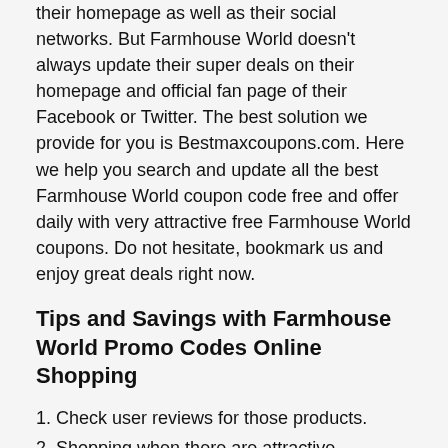their homepage as well as their social networks. But Farmhouse World doesn't always update their super deals on their homepage and official fan page of their Facebook or Twitter. The best solution we provide for you is Bestmaxcoupons.com. Here we help you search and update all the best Farmhouse World coupon code free and offer daily with very attractive free Farmhouse World coupons. Do not hesitate, bookmark us and enjoy great deals right now.
Tips and Savings with Farmhouse World Promo Codes Online Shopping
1. Check user reviews for those products.
2. Shopping when there are attractive promotions.
3. Try to buy packages, bundles, or lifetime features.
4. Always use and update the latest coupons & voucher codes to checkout.
5. Research the support update and refund
If you are pleased with the Farmhouse World coupon code then don't forget to share this website with everyone